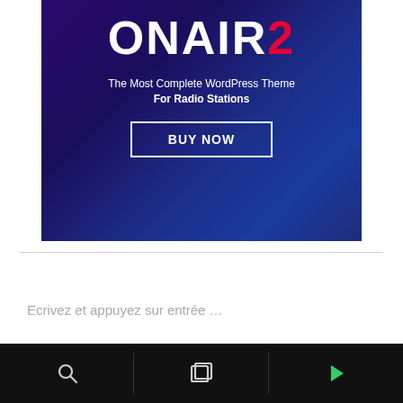[Figure (screenshot): ONAIR2 WordPress theme advertisement banner with dark blue/purple gradient background. Shows 'ONAIR2' text in white and red, tagline 'The Most Complete WordPress Theme For Radio Stations', and a 'BUY NOW' button with white border.]
Ecrivez et appuyez sur entrée …